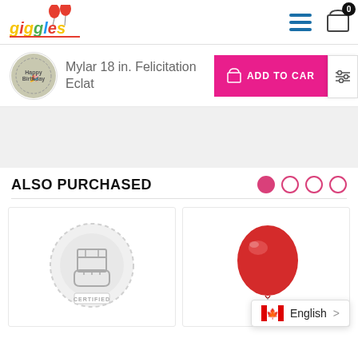[Figure (logo): Giggles store logo with colorful text and balloon decorations at the top]
Mylar 18 in. Felicitation Eclat
[Figure (illustration): Add to Cart button (pink/magenta) with shopping bag icon]
ALSO PURCHASED
[Figure (illustration): Certified delivery/service icon - grey circle with package and hand graphic]
[Figure (photo): Red balloon product photo]
English